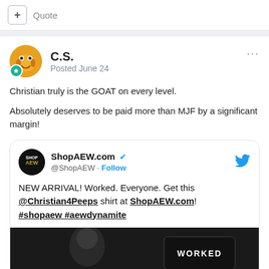+ Quote
C.S.
Posted June 24
Christian truly is the GOAT on every level.

Absolutely deserves to be paid more than MJF by a significant margin!
[Figure (screenshot): Embedded tweet from ShopAEW.com (@ShopAEW) with blue verified checkmark and Twitter bird icon. Text: NEW ARRIVAL! Worked. Everyone. Get this @Christian4Peeps shirt at ShopAEW.com! #shopaew #aewdynamite. Below is a black and white photo of a person with a t-shirt that has WORKED text.]